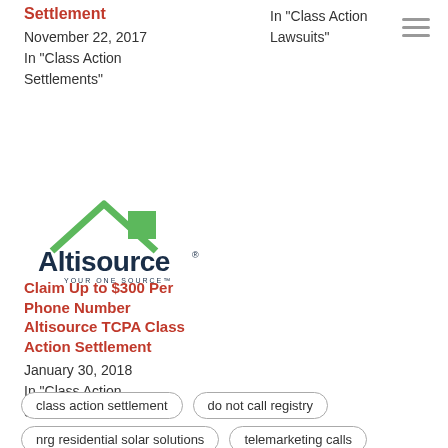Settlement
November 22, 2017
In "Class Action Settlements"
In "Class Action Lawsuits"
[Figure (logo): Altisource logo with green house/roof icon above text 'Altisource YOUR ONE SOURCE']
Claim Up to $300 Per Phone Number Altisource TCPA Class Action Settlement
January 30, 2018
In "Class Action Settlements"
class action settlement
do not call registry
nrg residential solar solutions
telemarketing calls